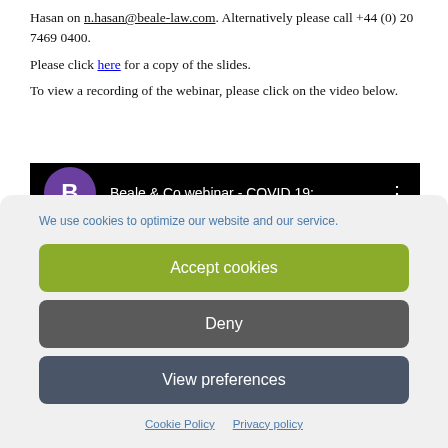Hasan on n.hasan@beale-law.com. Alternatively please call +44 (0) 20 7469 0400.
Please click here for a copy of the slides.
To view a recording of the webinar, please click on the video below.
[Figure (screenshot): Video thumbnail showing purple circle with letter B, black background, text 'Beale & Co webinar - COVID 19:' and three-dot menu icon]
We use cookies to optimize our website and our service.
Accept cookies
Deny
View preferences
Cookie Policy   Privacy policy